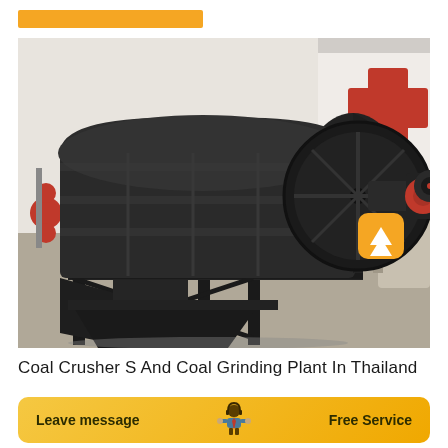[Figure (photo): A large black coal crusher / coal grinding drum machine on a metal frame, sitting inside a factory/warehouse with red and white industrial equipment visible in the background. A motor is attached to the right side of the drum.]
Coal Crusher S And Coal Grinding Plant In Thailand
[Figure (infographic): Yellow rounded-rectangle footer bar with 'Leave message' text on the left in bold, a customer service representative icon in the center, and 'Free Service' text on the right in bold.]